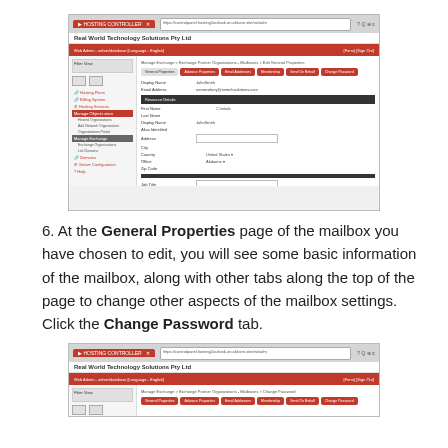[Figure (screenshot): Browser screenshot showing the General Properties page of a mailbox in the Hosting Controller web interface. Red navigation bar with tabs: General Properties, Advance Properties, Email Addresses, Membership, Send On Behalf, Change Password.]
6. At the General Properties page of the mailbox you have chosen to edit, you will see some basic information of the mailbox, along with other tabs along the top of the page to change other aspects of the mailbox settings. Click the Change Password tab.
[Figure (screenshot): Browser screenshot showing the Change Password page of the mailbox in the Hosting Controller web interface.]